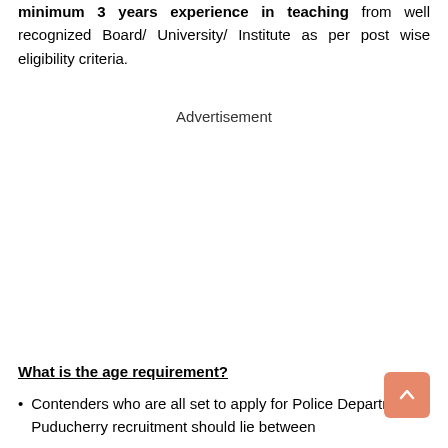minimum 3 years experience in teaching from well recognized Board/ University/ Institute as per post wise eligibility criteria.
Advertisement
What is the age requirement?
Contenders who are all set to apply for Police Department Puducherry recruitment should lie between